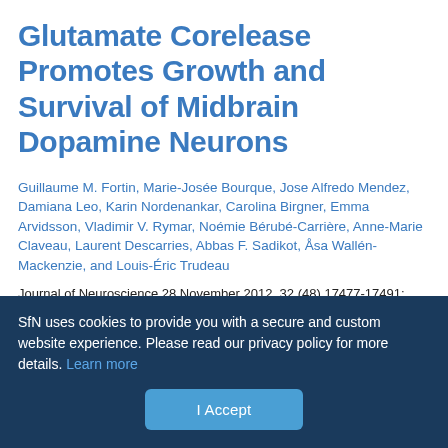Glutamate Corelease Promotes Growth and Survival of Midbrain Dopamine Neurons
Guillaume M. Fortin, Marie-Josée Bourque, Jose Alfredo Mendez, Damiana Leo, Karin Nordenankar, Carolina Birgner, Emma Arvidsson, Vladimir V. Rymar, Noémie Bérubé-Carrière, Anne-Marie Claveau, Laurent Descarries, Abbas F. Sadikot, Åsa Wallén-Mackenzie, and Louis-Éric Trudeau
Journal of Neuroscience 28 November 2012, 32 (48) 17477-17491; DOI: https://doi.org/10.1523/JNEUROSCI.1939-12.2012
Article | Figures & Data
SfN uses cookies to provide you with a secure and custom website experience. Please read our privacy policy for more details. Learn more
I Accept